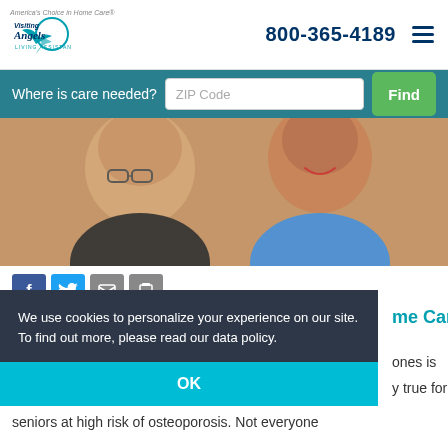[Figure (logo): Visiting Angels logo with bird icon and tagline 'America's Choice in Home Care' and 'Living Assistance Services']
800-365-4189
Where is care needed?
[Figure (photo): Elderly man with glasses and a smiling caregiver in blue scrubs looking down]
[Figure (other): Social sharing icons: Facebook, Twitter, Email, Print]
We use cookies to personalize your experience on our site. To find out more, please read our data policy.
OK
me Care
ones is true for seniors at high risk of osteoporosis. Not everyone